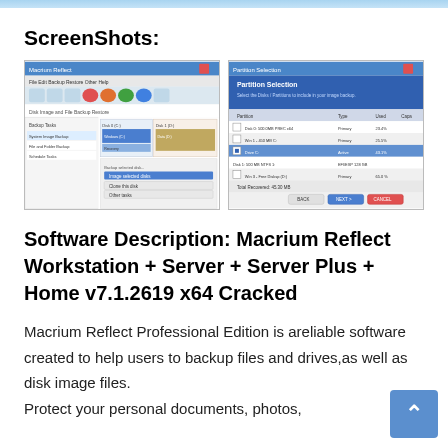ScreenShots:
[Figure (screenshot): Two software screenshots of Macrium Reflect application windows side by side]
Software Description: Macrium Reflect Workstation + Server + Server Plus + Home v7.1.2619 x64 Cracked
Macrium Reflect Professional Edition is areliable software created to help users to backup files and drives,as well as disk image files.
Protect your personal documents, photos,